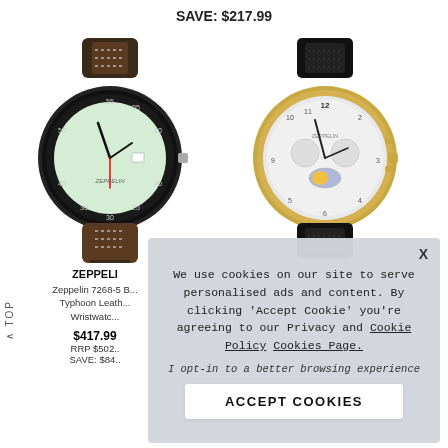SAVE: $217.99
[Figure (photo): Zeppelin sport watch with black bezel and light green dial, black/brown leather strap]
[Figure (photo): Zeppelin dress watch with gold case and white multi-function dial, black leather strap]
ZEPPELI...
Zeppelin 7268-5 B...
Typhoon Leath...
Wristwatc...
$417.99
RRP $502..
SAVE: $84..
We use cookies on our site to serve personalised ads and content. By clicking 'Accept Cookie' you're agreeing to our Privacy and Cookie Policy Cookies Page.

I opt-in to a better browsing experience

ACCEPT COOKIES